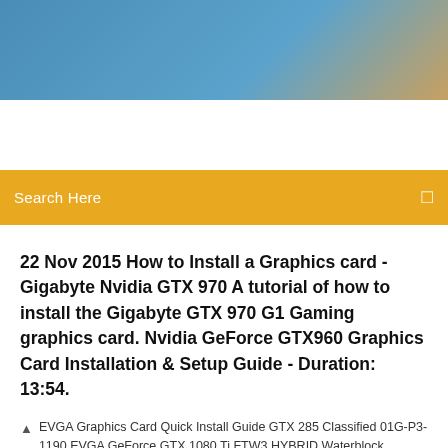[Figure (photo): Website header image with blue sky and warm color gradient]
Search Here
22 Nov 2015 How to Install a Graphics card - Gigabyte Nvidia GTX 970 A tutorial of how to install the Gigabyte GTX 970 G1 Gaming graphics card. Nvidia GeForce GTX960 Graphics Card Installation & Setup Guide - Duration: 13:54.
EVGA Graphics Card Quick Install Guide GTX 285 Classified 01G-P3-1190 EVGA GeForce GTX 1080 Ti FTW3 HYBRID Waterblock Installation Guide  |
7 Comments